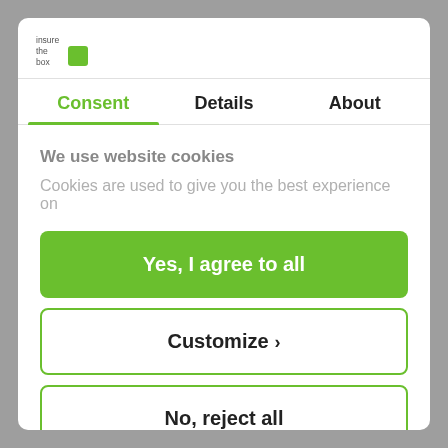[Figure (logo): Insurethebox logo - text 'insure the box' with a green square icon]
Consent | Details | About
We use website cookies
Cookies are used to give you the best experience on
Yes, I agree to all
Customize ›
No, reject all
Powered by Cookiebot by Usercentrics